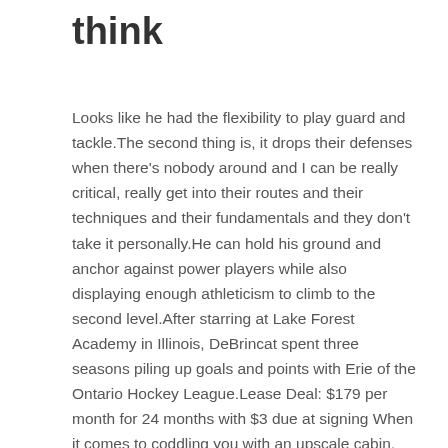think
Looks like he had the flexibility to play guard and tackle.The second thing is, it drops their defenses when there's nobody around and I can be really critical, really get into their routes and their techniques and their fundamentals and they don't take it personally.He can hold his ground and anchor against power players while also displaying enough athleticism to climb to the second level.After starring at Lake Forest Academy in Illinois, DeBrincat spent three seasons piling up goals and points with Erie of the Ontario Hockey League.Lease Deal: $179 per month for 24 months with $3 due at signing When it comes to coddling you with an upscale cabin, the 2019 Kia Sorento is a midsize SUV that masquerades as a premium offering.